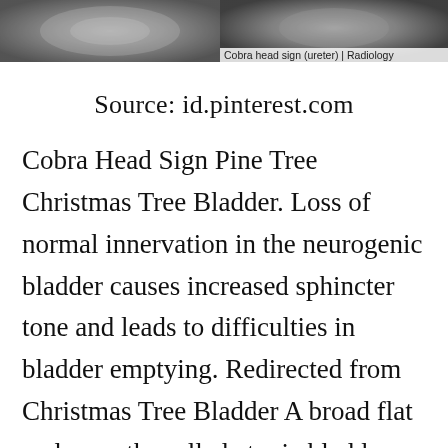[Figure (photo): Two grayscale medical/radiology images side by side at top of page. Right image has caption overlay reading 'Cobra head sign (ureter) | Radiology']
Cobra head sign (ureter) | Radiology
Source: id.pinterest.com
Cobra Head Sign Pine Tree Christmas Tree Bladder. Loss of normal innervation in the neurogenic bladder causes increased sphincter tone and leads to difficulties in bladder emptying. Redirected from Christmas Tree Bladder A broad flat and smooth-walled atonic bladder with a flaccid base and a jagged superior funneling into the posterior urethra which is typical of